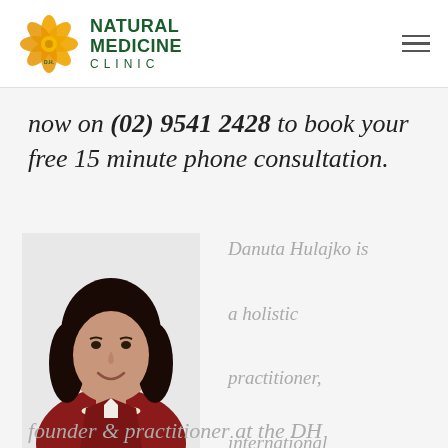[Figure (logo): Natural Medicine Clinic logo with golden flower/dahlia and green text reading NATURAL MEDICINE CLINIC D.H.]
now on (02) 9541 2428 to book your free 15 minute phone consultation.
[Figure (photo): Portrait photo of Danuta Hulajko, a woman with dark hair wearing a red jacket and pearl necklace, smiling]
Danuta Hulajko is a holistic practitioner, international speaker and the founder & practitioner at the DH